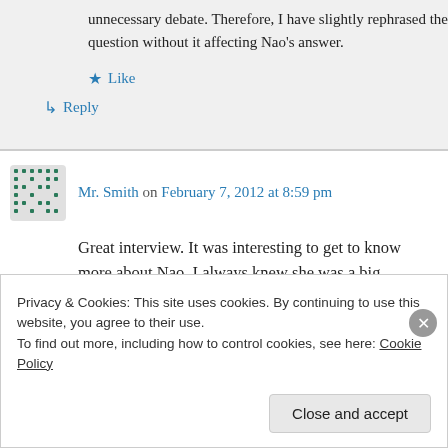unnecessary debate. Therefore, I have slightly rephrased the question without it affecting Nao's answer.
Like
Reply
Mr. Smith on February 7, 2012 at 8:59 pm
Great interview. It was interesting to get to know more about Nao. I always knew she was a big
Privacy & Cookies: This site uses cookies. By continuing to use this website, you agree to their use.
To find out more, including how to control cookies, see here: Cookie Policy
Close and accept